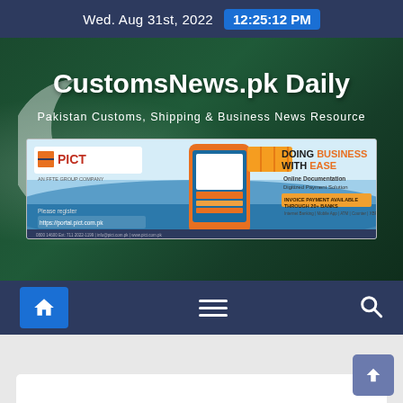Wed. Aug 31st, 2022  12:25:12 PM
CustomsNews.pk Daily
Pakistan Customs, Shipping & Business News Resource
[Figure (screenshot): PICT advertisement banner: 'DOING BUSINESS WITH EASE — Online Documentation, Digitized Payment Solution, INVOICE PAYMENT AVAILABLE THROUGH 20+ BANKS. Please register: https://portal.pict.com.pk']
[Figure (screenshot): Navigation bar with home icon (blue background), hamburger menu icon, and search icon on dark navy background]